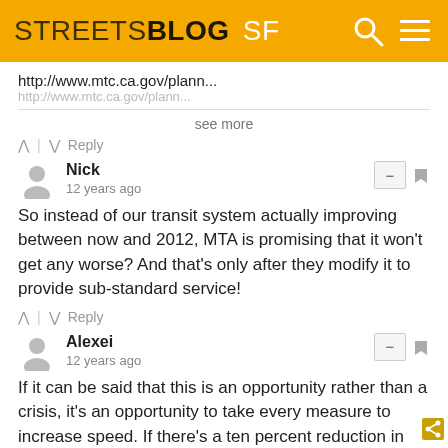STREETSBLOG SF
http://www.mtc.ca.gov/plann...
see more
^ | v  Reply
Nick
12 years ago
So instead of our transit system actually improving between now and 2012, MTA is promising that it won't get any worse? And that's only after they modify it to provide sub-standard service!
^ | v  Reply
Alexei
12 years ago
If it can be said that this is an opportunity rather than a crisis, it's an opportunity to take every measure to increase speed. If there's a ten percent reduction in the number of buses, but